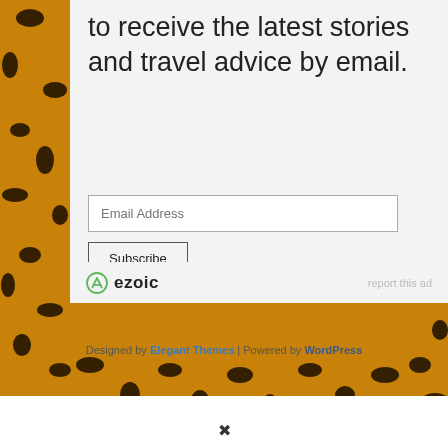[Figure (other): Leopard print background texture in orange/amber and black]
to receive the latest stories and travel advice by email.
Email Address
Subscribe
[Figure (logo): Ezoic logo with circular icon and bold text 'ezoic']
report this ad
Designed by Elegant Themes | Powered by WordPress